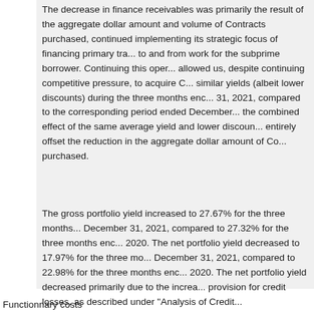The decrease in finance receivables was primarily the result of the aggregate dollar amount and volume of Contracts purchased, continued implementing its strategic focus of financing primary transportation to and from work for the subprime borrower. Continuing this operation allowed us, despite continuing competitive pressure, to acquire Contracts at similar yields (albeit lower discounts) during the three months ended December 31, 2021, compared to the corresponding period ended December. the combined effect of the same average yield and lower discounts did not entirely offset the reduction in the aggregate dollar amount of Contracts purchased.
The gross portfolio yield increased to 27.67% for the three months ended December 31, 2021, compared to 27.32% for the three months ended 2020. The net portfolio yield decreased to 17.97% for the three months ended December 31, 2021, compared to 22.98% for the three months ended 2020. The net portfolio yield decreased primarily due to the increase in provision for credit losses, as described under "Analysis of Credit
Functionnary costs